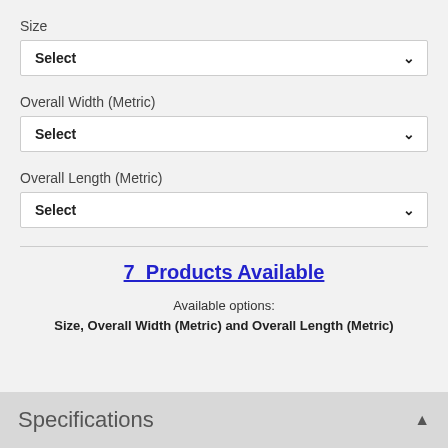Size
Select
Overall Width (Metric)
Select
Overall Length (Metric)
Select
7  Products Available
Available options:
Size, Overall Width (Metric) and Overall Length (Metric)
Specifications